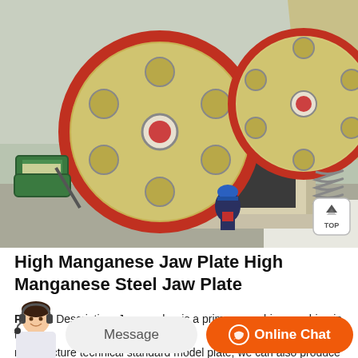[Figure (photo): Industrial jaw crusher machine with large red-rimmed flywheel and yellow/beige body, worker in blue hardhat standing in front, green motor visible on the left, springs on the right side]
High Manganese Jaw Plate High Manganese Steel Jaw Plate
Product Description. Jaw crusher is a primary crushing machine in the
manufacture technical standard model plate, we can also produce the non-